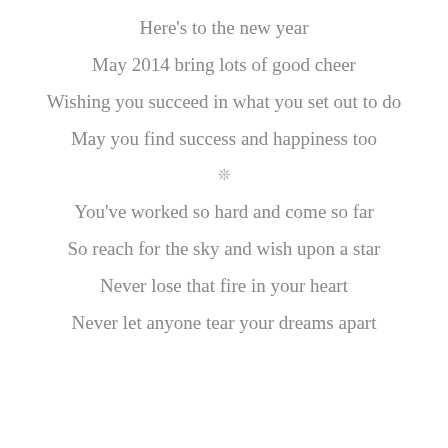Here's to the new year
May 2014 bring lots of good cheer
Wishing you succeed in what you set out to do
May you find success and happiness too
*
You've worked so hard and come so far
So reach for the sky and wish upon a star
Never lose that fire in your heart
Never let anyone tear your dreams apart